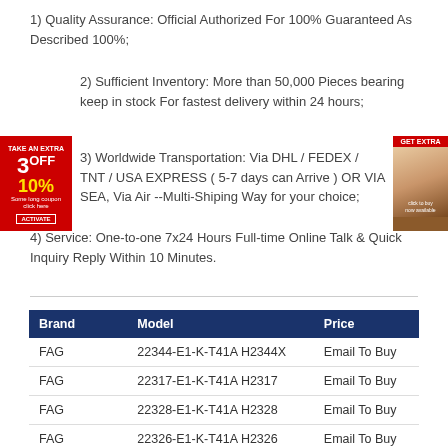1) Quality Assurance: Official Authorized For 100% Guaranteed As Described 100%;
2) Sufficient Inventory: More than 50,000 Pieces bearing keep in stock For fastest delivery within 24 hours;
3) Worldwide Transportation: Via DHL / FEDEX / TNT / USA EXPRESS ( 5-7 days can Arrive ) OR VIA SEA, Via Air --Multi-Shiping Way for your choice;
4) Service: One-to-one 7x24 Hours Full-time Online Talk & Quick Inquiry Reply Within 10 Minutes.
| Brand | Model | Price |
| --- | --- | --- |
| FAG | 22344-E1-K-T41A H2344X | Email To Buy |
| FAG | 22317-E1-K-T41A H2317 | Email To Buy |
| FAG | 22328-E1-K-T41A H2328 | Email To Buy |
| FAG | 22326-E1-K-T41A H2326 | Email To Buy |
| FAG | 22312-E1-K-T41A H2312 | Email To Buy |
| FAG | 22309-E1-K AH2309 | Email To Buy |
| FAG | 22310-E1-K-T41A H2310 | Email To Buy |